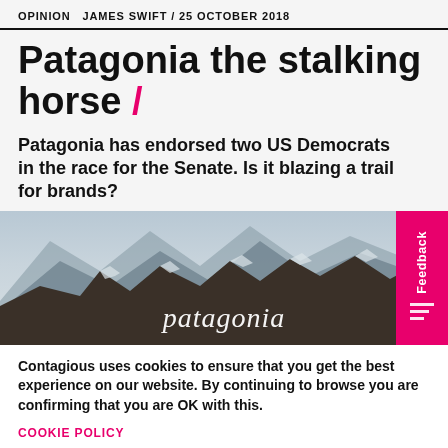OPINION   JAMES SWIFT / 25 OCTOBER 2018
Patagonia the stalking horse /
Patagonia has endorsed two US Democrats in the race for the Senate. Is it blazing a trail for brands?
[Figure (photo): Mountain landscape photo with Patagonia logo overlaid in white italic text at the bottom center]
Contagious uses cookies to ensure that you get the best experience on our website. By continuing to browse you are confirming that you are OK with this.
COOKIE POLICY
GOT IT!